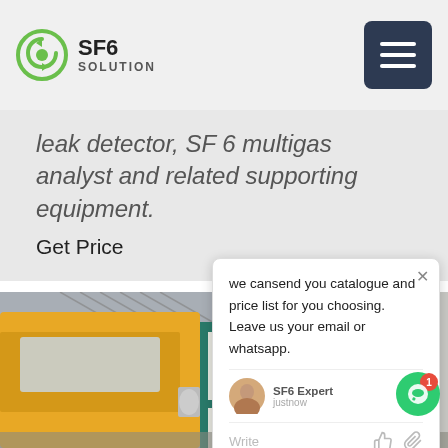SF6 SOLUTION
leak detector, SF 6 multigas analyst and related supporting equipment.
Get Price
[Figure (photo): Yellow truck and teal equipment cabinet at industrial substation site with steel structure in background]
we cansend you catalogue and price list for you choosing.
Leave us your email or whatsapp.
SF6 Expert   justnow
Write